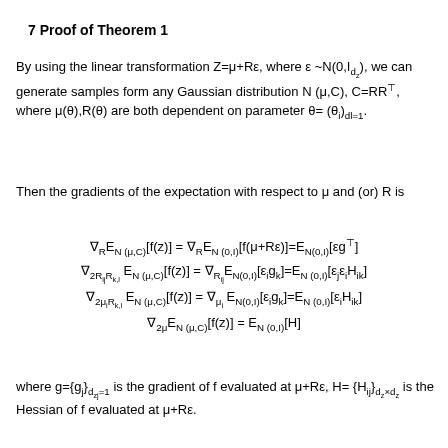7 Proof of Theorem 1
By using the linear transformation Z=μ+Rε, where ε ~N(0,I_{d_z}), we can generate samples form any Gaussian distribution N (μ,C), C=RR^T, where μ(θ),R(θ) are both dependent on parameter θ=(θ_i)_{dl=1}.
Then the gradients of the expectation with respect to μ and (or) R is
where g={g_j}_{d_{zj}=1} is the gradient of f evaluated at μ+Rε, H={H_{ij}}_{d_z×d_z} is the Hessian of f evaluated at μ+Rε.